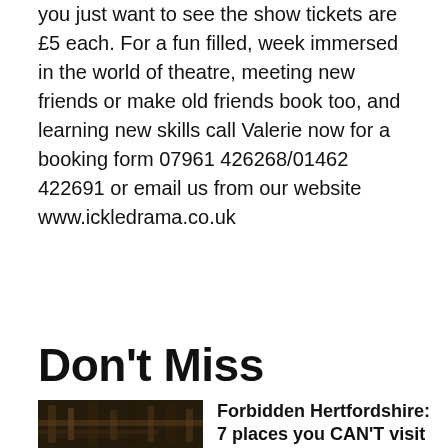you just want to see the show tickets are £5 each. For a fun filled, week immersed in the world of theatre, meeting new friends or make old friends book too, and learning new skills call Valerie now for a booking form 07961 426268/01462 422691 or email us from our website www.ickledrama.co.uk
Don't Miss
[Figure (photo): Dark outdoor photo showing wooden logs or timber structure in a forest/woodland setting]
Forbidden Hertfordshire: 7 places you CAN'T visit in the county